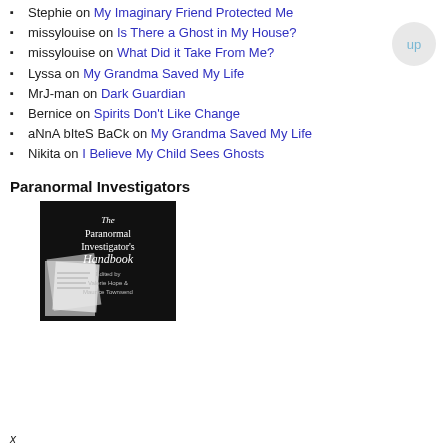Stephie on My Imaginary Friend Protected Me
missylouise on Is There a Ghost in My House?
missylouise on What Did it Take From Me?
Lyssa on My Grandma Saved My Life
MrJ-man on Dark Guardian
Bernice on Spirits Don't Like Change
aNnA bIteS BaCk on My Grandma Saved My Life
Nikita on I Believe My Child Sees Ghosts
Paranormal Investigators
[Figure (photo): Book cover of 'The Paranormal Investigator's Handbook' edited by Valerie Hope & Maurice Townsend, black cover with white text and small image of documents/papers]
x